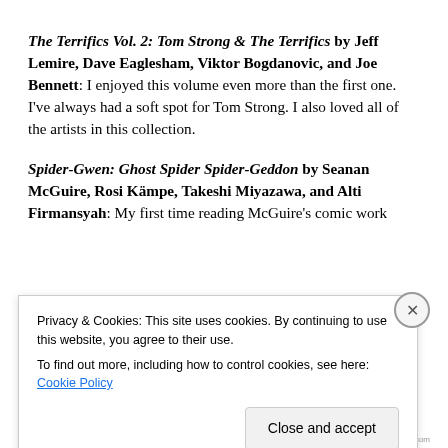The Terrifics Vol. 2: Tom Strong & The Terrifics by Jeff Lemire, Dave Eaglesham, Viktor Bogdanovic, and Joe Bennett: I enjoyed this volume even more than the first one. I've always had a soft spot for Tom Strong. I also loved all of the artists in this collection.
Spider-Gwen: Ghost Spider Spider-Geddon by Seanan McGuire, Rosi Kämpe, Takeshi Miyazawa, and Alti Firmansyah: My first time reading McGuire's comic work
Privacy & Cookies: This site uses cookies. By continuing to use this website, you agree to their use.
To find out more, including how to control cookies, see here: Cookie Policy
Close and accept